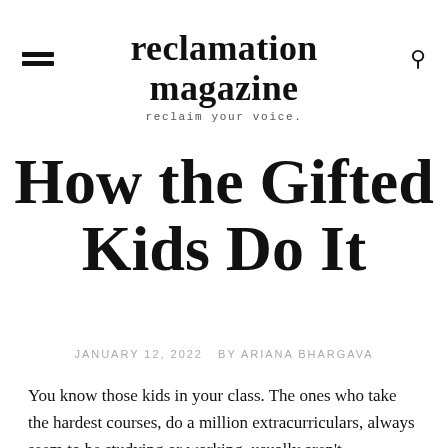reclamation magazine
reclaim your voice.
How the Gifted Kids Do It
JANUARY 12, 2022   BY ARIANA BHARGAVA
You know those kids in your class. The ones who take the hardest courses, do a million extracurriculars, always seem to be studying or working, usually aren't